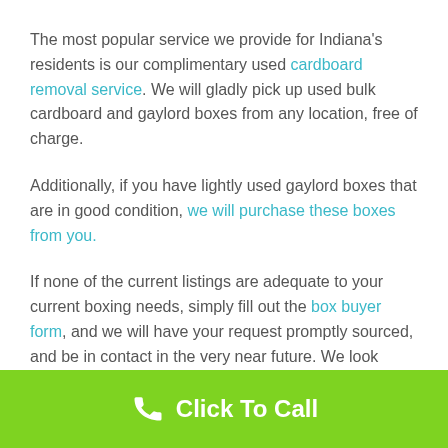The most popular service we provide for Indiana's residents is our complimentary used cardboard removal service. We will gladly pick up used bulk cardboard and gaylord boxes from any location, free of charge.
Additionally, if you have lightly used gaylord boxes that are in good condition, we will purchase these boxes from you.
If none of the current listings are adequate to your current boxing needs, simply fill out the box buyer form, and we will have your request promptly sourced, and be in contact in the very near future. We look forward to doing business with you.
If you need gaylord boxes anywhere in Indiana, simply complete a box buyer request and we will have it
Click To Call